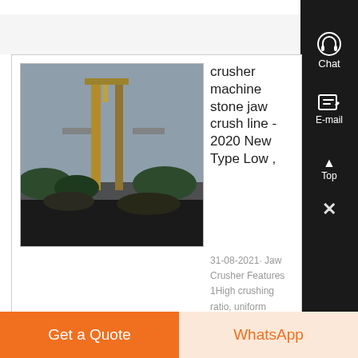[Figure (photo): Industrial crusher machine / jaw crusher at a stone crushing site, outdoor, grey sky background]
crusher machine stone jaw crush line - 2020 New Type Low ,
31-08-2021· Jaw Crusher Features 1High crushing ratio, uniform granularity of fine product 2Optimized discharge port
Chat
E-mail
Top
Get a Quote
WhatsApp